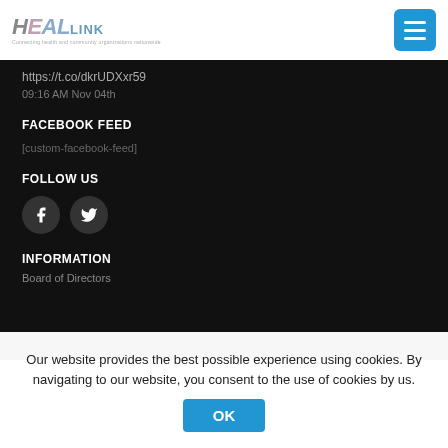[Figure (logo): HEALlink logo with stylized text and tagline]
https://t.co/dkrUDXxr59
09:16 AM Nov 04th
FACEBOOK FEED
[custom-facebook-feed]
FOLLOW US
[Figure (other): Facebook and Twitter circular icon buttons]
INFORMATION
Board of Directors
Our website provides the best possible experience using cookies. By navigating to our website, you consent to the use of cookies by us.